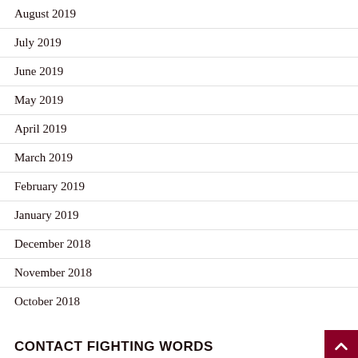August 2019
July 2019
June 2019
May 2019
April 2019
March 2019
February 2019
January 2019
December 2018
November 2018
October 2018
CONTACT FIGHTING WORDS
Email: editor@fighting-words.net